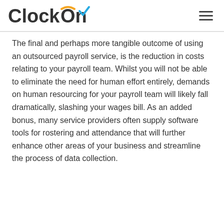ClockOn
The final and perhaps more tangible outcome of using an outsourced payroll service, is the reduction in costs relating to your payroll team. Whilst you will not be able to eliminate the need for human effort entirely, demands on human resourcing for your payroll team will likely fall dramatically, slashing your wages bill. As an added bonus, many service providers often supply software tools for rostering and attendance that will further enhance other areas of your business and streamline the process of data collection.